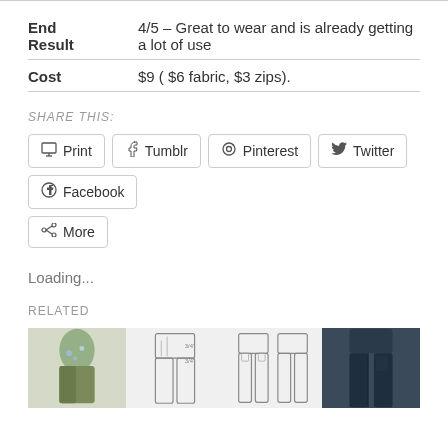| End Result | 4/5 – Great to wear and is already getting a lot of use |
| Cost | $9 ( $6 fabric, $3 zips). |
SHARE THIS:
Print  Tumblr  Pinterest  Twitter  Facebook  More
Loading...
RELATED
[Figure (illustration): Four clothing/fashion related sketch illustrations shown in a row]